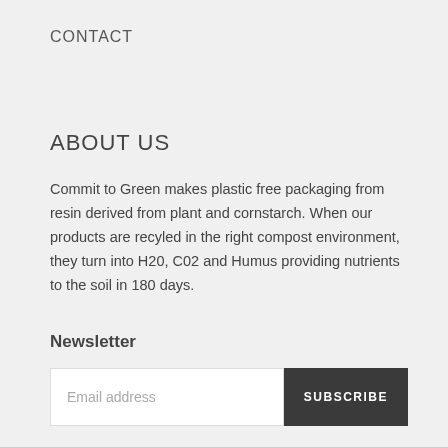CONTACT
ABOUT US
Commit to Green makes plastic free packaging from resin derived from plant and cornstarch. When our products are recyled in the right compost environment, they turn into H20, C02 and Humus providing nutrients to the soil in 180 days.
Newsletter
Email address  SUBSCRIBE